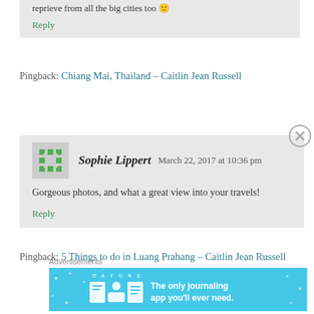reprieve from all the big cities too 🙂
Reply
Pingback: Chiang Mai, Thailand – Caitlin Jean Russell
Sophie Lippert   March 22, 2017 at 10:36 pm
Gorgeous photos, and what a great view into your travels!
Reply
Pingback: 5 Things to do in Luang Prabang – Caitlin Jean Russell
Advertisements
[Figure (other): Day One journaling app advertisement banner with text: The only journaling app you'll ever need.]